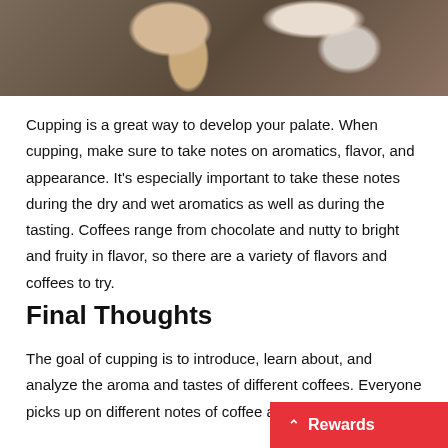[Figure (photo): Close-up photo of a person's hand holding a white cup, likely during a coffee cupping session, with colorful fabric in the background.]
Cupping is a great way to develop your palate. When cupping, make sure to take notes on aromatics, flavor, and appearance. It's especially important to take these notes during the dry and wet aromatics as well as during the tasting. Coffees range from chocolate and nutty to bright and fruity in flavor, so there are a variety of flavors and coffees to try.
Final Thoughts
The goal of cupping is to introduce, learn about, and analyze the aroma and tastes of different coffees. Everyone picks up on different notes of coffee and it'